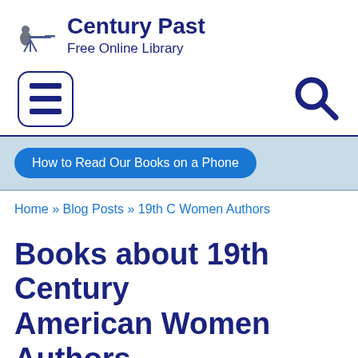Century Past
Free Online Library
[Figure (illustration): Small illustration of a person aiming a rifle on a tripod, used as the site logo]
[Figure (other): Hamburger menu button with three horizontal lines inside a rounded rectangle border]
[Figure (other): Search icon (magnifying glass)]
How to Read Our Books on a Phone
Home » Blog Posts » 19th C Women Authors
Books about 19th Century American Women Authors
Books